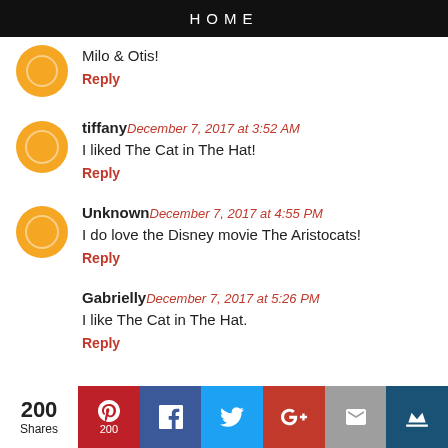HOME
Milo & Otis!
Reply
tiffany December 7, 2017 at 3:52 AM
I liked The Cat in The Hat!
Reply
Unknown December 7, 2017 at 4:55 PM
I do love the Disney movie The Aristocats!
Reply
Gabrielly December 7, 2017 at 5:26 PM
I like The Cat in The Hat.
Reply
200 Shares | Pinterest 200 | Facebook | Twitter | Google+ | Email | Crown